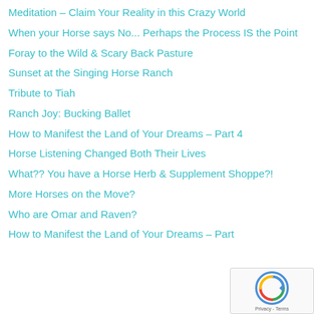Meditation – Claim Your Reality in this Crazy World
When your Horse says No... Perhaps the Process IS the Point
Foray to the Wild & Scary Back Pasture
Sunset at the Singing Horse Ranch
Tribute to Tiah
Ranch Joy: Bucking Ballet
How to Manifest the Land of Your Dreams – Part 4
Horse Listening Changed Both Their Lives
What?? You have a Horse Herb & Supplement Shoppe?!
More Horses on the Move?
Who are Omar and Raven?
How to Manifest the Land of Your Dreams – Part